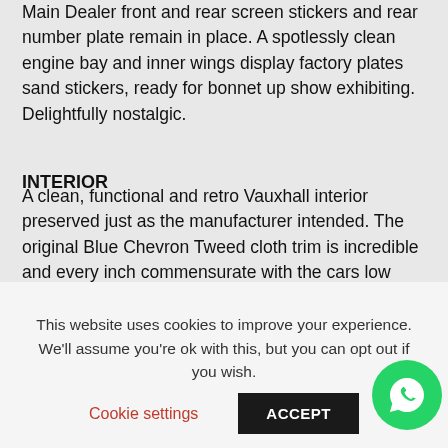Main Dealer front and rear screen stickers and rear number plate remain in place.  A spotlessly clean engine bay and inner wings display factory plates sand stickers, ready for bonnet up show exhibiting.  Delightfully nostalgic.
INTERIOR
A clean, functional and retro Vauxhall interior preserved just as the manufacturer intended.  The original Blue Chevron Tweed cloth trim is incredible and every inch commensurate with the cars low mileage credentials.  The upholstery is clean and shows only very minimal wear, and the matching colour scheme carpets, door cards and dashboard are typically Vauxhall!  All functions and controls operate perfectly including the Phillips push button mono stereo cassette.  The dashboard and internal trim pieces are exceptional with no cracks or damage whatsoever and an almost impossible
This website uses cookies to improve your experience. We'll assume you're ok with this, but you can opt out if you wish.
Cookie settings
ACCEPT